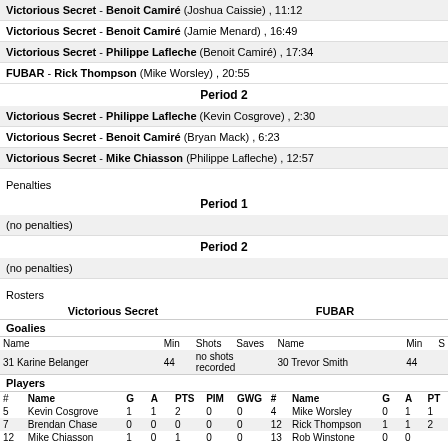Victorious Secret - Benoit Camiré (Joshua Caissie) , 11:12
Victorious Secret - Benoit Camiré (Jamie Menard) , 16:49
Victorious Secret - Philippe Lafleche (Benoit Camiré) , 17:34
FUBAR - Rick Thompson (Mike Worsley) , 20:55
Period 2
Victorious Secret - Philippe Lafleche (Kevin Cosgrove) , 2:30
Victorious Secret - Benoit Camiré (Bryan Mack) , 6:23
Victorious Secret - Mike Chiasson (Philippe Lafleche) , 12:57
Penalties
Period 1
(no penalties)
Period 2
(no penalties)
Rosters
| # | Name | G | A | PTS | PIM | GWG | # | Name | G | A | PT |
| --- | --- | --- | --- | --- | --- | --- | --- | --- | --- | --- | --- |
| 5 | Kevin Cosgrove | 1 | 1 | 2 | 0 | 0 | 4 | Mike Worsley | 0 | 1 | 1 |
| 7 | Brendan Chase | 0 | 0 | 0 | 0 | 0 | 12 | Rick Thompson | 1 | 1 | 2 |
| 12 | Mike Chiasson | 1 | 0 | 1 | 0 | 0 | 13 | Rob Winstone | 0 | 0 |  |